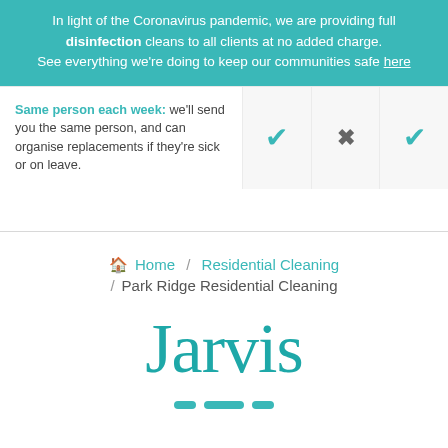In light of the Coronavirus pandemic, we are providing full disinfection cleans to all clients at no added charge. See everything we're doing to keep our communities safe here
Same person each week: we'll send you the same person, and can organise replacements if they're sick or on leave.
Home / Residential Cleaning / Park Ridge Residential Cleaning
Jarvis